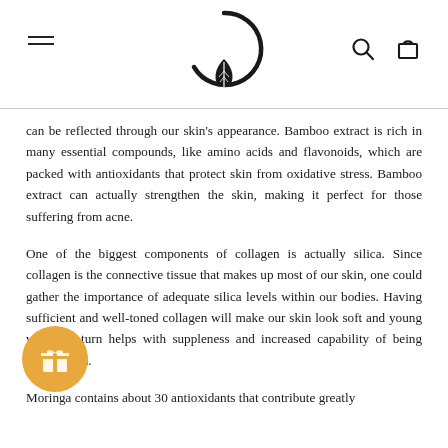[Navigation header with hamburger menu, circular leaf logo, search and cart icons]
can be reflected through our skin’s appearance. Bamboo extract is rich in many essential compounds, like amino acids and flavonoids, which are packed with antioxidants that protect skin from oxidative stress. Bamboo extract can actually strengthen the skin, making it perfect for those suffering from acne.
One of the biggest components of collagen is actually silica. Since collagen is the connective tissue that makes up most of our skin, one could gather the importance of adequate silica levels within our bodies. Having sufficient and well-toned collagen will make our skin look soft and young which in turn helps with suppleness and increased capability of being moisturized.
Moringa contains about 30 antioxidants that contribute greatly